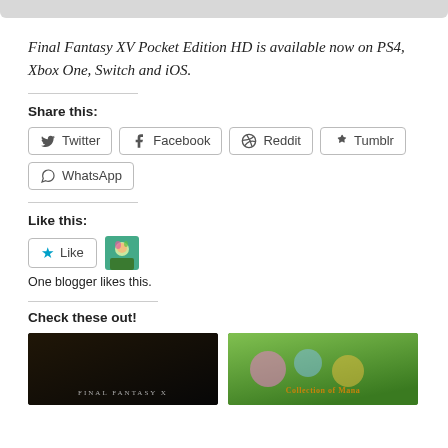Final Fantasy XV Pocket Edition HD is available now on PS4, Xbox One, Switch and iOS.
Share this:
Twitter Facebook Reddit Tumblr WhatsApp
Like this:
Like
One blogger likes this.
Check these out!
[Figure (photo): Two thumbnail images: left shows a dark Final Fantasy X scene with text 'FINAL FANTASY X', right shows a colorful Collection of Mana game artwork]